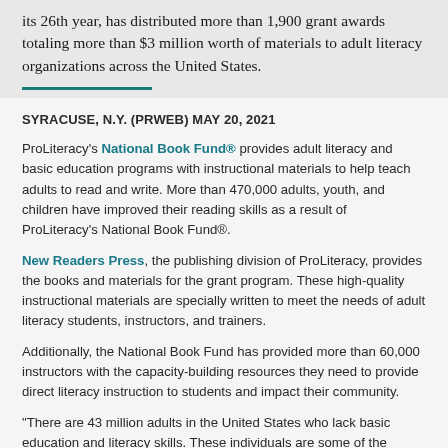its 26th year, has distributed more than 1,900 grant awards totaling more than $3 million worth of materials to adult literacy organizations across the United States.
SYRACUSE, N.Y. (PRWEB) MAY 20, 2021
ProLiteracy's National Book Fund® provides adult literacy and basic education programs with instructional materials to help teach adults to read and write. More than 470,000 adults, youth, and children have improved their reading skills as a result of ProLiteracy's National Book Fund®.
New Readers Press, the publishing division of ProLiteracy, provides the books and materials for the grant program. These high-quality instructional materials are specially written to meet the needs of adult literacy students, instructors, and trainers.
Additionally, the National Book Fund has provided more than 60,000 instructors with the capacity-building resources they need to provide direct literacy instruction to students and impact their community.
"There are 43 million adults in the United States who lack basic education and literacy skills. These individuals are some of the